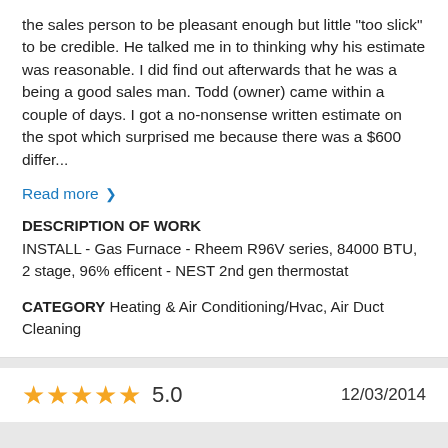the sales person to be pleasant enough but little "too slick" to be credible. He talked me in to thinking why his estimate was reasonable. I did find out afterwards that he was a being a good sales man. Todd (owner) came within a couple of days. I got a no-nonsense written estimate on the spot which surprised me because there was a $600 differ...
Read more >
DESCRIPTION OF WORK
INSTALL - Gas Furnace - Rheem R96V series, 84000 BTU, 2 stage, 96% efficent - NEST 2nd gen thermostat
CATEGORY Heating & Air Conditioning/Hvac, Air Duct Cleaning
5.0   12/03/2014